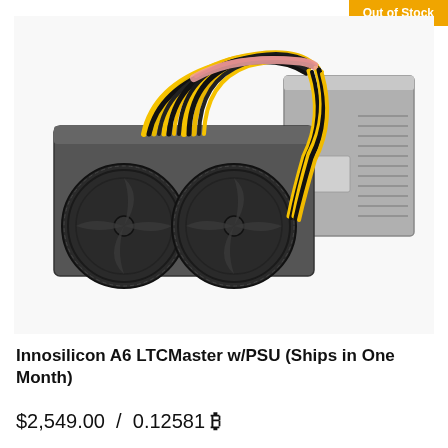[Figure (photo): Innosilicon A6 LTCMaster cryptocurrency mining hardware with PSU. Shows a mining rig with two large circular cooling fans on the front left, dense bundles of yellow and black wiring/cables in the center and upper area, and a grey power supply unit (PSU) on the right side. The device sits on a white background.]
Out of Stock
Innosilicon A6 LTCMaster w/PSU (Ships in One Month)
$2,549.00 / 0.12581 ₿